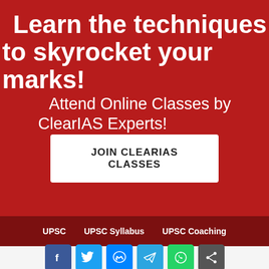Learn the techniques to skyrocket your marks!
Attend Online Classes by ClearIAS Experts!
JOIN CLEARIAS CLASSES
UPSC   UPSC Syllabus   UPSC Coaching
[Figure (other): Social media share icons: Facebook, Twitter, Messenger, Telegram, WhatsApp, Share]